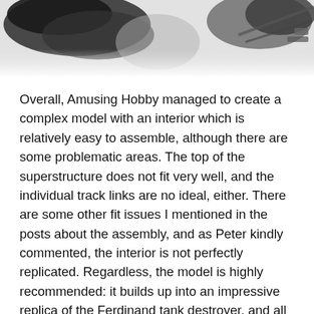[Figure (photo): Partial view of a scale model (Ferdinand tank destroyer) parts, dark/grey plastic components visible against light background, top of page cropped]
Overall, Amusing Hobby managed to create a complex model with an interior which is relatively easy to assemble, although there are some problematic areas. The top of the superstructure does not fit very well, and the individual track links are no ideal, either. There are some other fit issues I mentioned in the posts about the assembly, and as Peter kindly commented, the interior is not perfectly replicated. Regardless, the model is highly recommended: it builds up into an impressive replica of the Ferdinand tank destroyer, and all that space inside is perfectly filled out with interesting details.
Now off to finish some long-outstanding builds before starting that T-72...